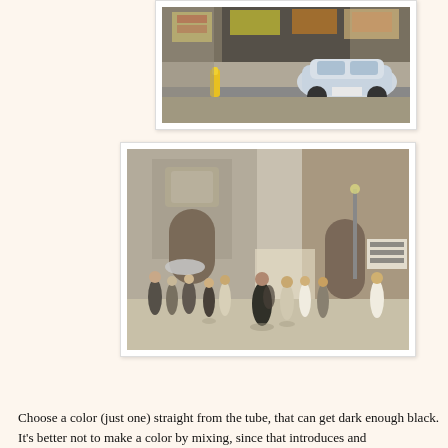[Figure (photo): Photograph of a car parked inside or near a garage/shop entrance with signage visible]
[Figure (photo): Photograph of a crowd of people walking in front of a large stone cathedral or church building]
Choose a color (just one) straight from the tube, that can get dark enough black. It's better not to make a color by mixing, since that introduces and